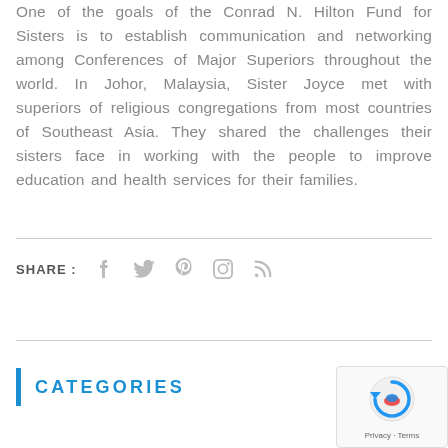One of the goals of the Conrad N. Hilton Fund for Sisters is to establish communication and networking among Conferences of Major Superiors throughout the world. In Johor, Malaysia, Sister Joyce met with superiors of religious congregations from most countries of Southeast Asia. They shared the challenges their sisters face in working with the people to improve education and health services for their families.
SHARE : [social icons: Facebook, Twitter, Pinterest, Instagram, RSS]
CATEGORIES
[Figure (other): reCAPTCHA logo with Privacy and Terms links]